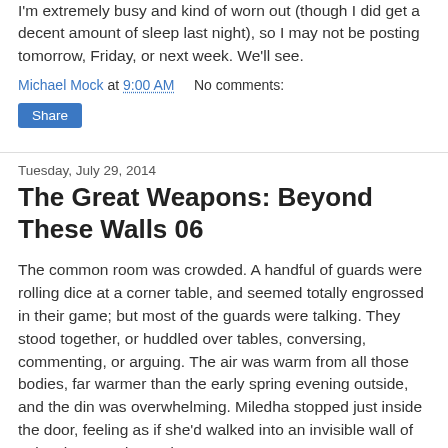I'm extremely busy and kind of worn out (though I did get a decent amount of sleep last night), so I may not be posting tomorrow, Friday, or next week. We'll see.
Michael Mock at 9:00 AM   No comments:
Share
Tuesday, July 29, 2014
The Great Weapons: Beyond These Walls 06
The common room was crowded. A handful of guards were rolling dice at a corner table, and seemed totally engrossed in their game; but most of the guards were talking. They stood together, or huddled over tables, conversing, commenting, or arguing. The air was warm from all those bodies, far warmer than the early spring evening outside, and the din was overwhelming. Miledha stopped just inside the door, feeling as if she'd walked into an invisible wall of noise, heat, and crowd.